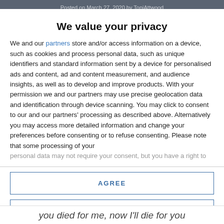Posted on March 27, 2020 by ToniAttwood
We value your privacy
We and our partners store and/or access information on a device, such as cookies and process personal data, such as unique identifiers and standard information sent by a device for personalised ads and content, ad and content measurement, and audience insights, as well as to develop and improve products. With your permission we and our partners may use precise geolocation data and identification through device scanning. You may click to consent to our and our partners' processing as described above. Alternatively you may access more detailed information and change your preferences before consenting or to refuse consenting. Please note that some processing of your personal data may not require your consent, but you have a right to
AGREE
MORE OPTIONS
you died for me, now I'll die for you